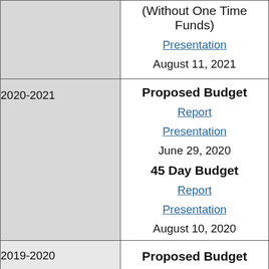| Year | Budget Documents |
| --- | --- |
|  | (Without One Time Funds)
Presentation
August 11, 2021 |
| 2020-2021 | Proposed Budget
Report
Presentation
June 29, 2020
45 Day Budget
Report
Presentation
August 10, 2020 |
| 2019-2020 | Proposed Budget |